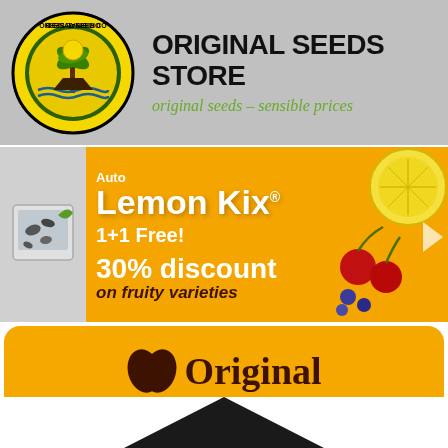[Figure (logo): Original Seeds Store banner with circular logo and store name. Tagline: original seeds - sensible prices]
[Figure (infographic): Auto Lemon Kix promotional banner on orange background. 1+1 Free! 30% discount on fruity varieties]
[Figure (logo): Original Sensible Seeds logo on orange rounded rectangle background with leaf/seed icons]
and not to forget:
[Figure (illustration): Dark triangular shape at bottom of page]